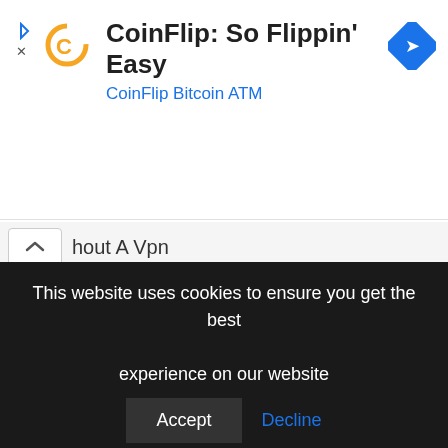[Figure (screenshot): Advertisement banner for CoinFlip Bitcoin ATM showing orange C logo on left, bold title 'CoinFlip: So Flippin' Easy', subtitle 'CoinFlip Bitcoin ATM' in blue, and a blue navigation/directions diamond icon on the right.]
hout A Vpn
Leave a Comment
This website uses cookies to ensure you get the best experience on our website
Accept
Decline
Cookie Policy